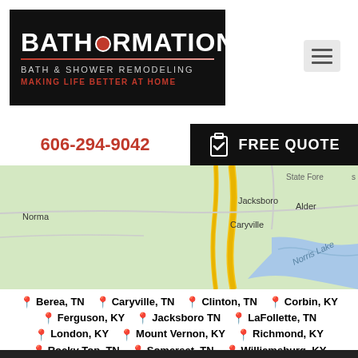[Figure (logo): Bathformation logo — black background with white bold text BATHFORMATION (O replaced by red circle), red gradient line, subtitle BATH & SHOWER REMODELING in gray, tagline MAKING LIFE BETTER AT HOME in red]
[Figure (illustration): Hamburger menu icon — three horizontal lines on gray background]
606-294-9042
FREE QUOTE
[Figure (map): Google Maps view showing Jacksboro, Caryville, Norma, Alder, State Forest, Norris Lake area in Tennessee/Kentucky]
Berea, TN
Caryville, TN
Clinton, TN
Corbin, KY
Ferguson, KY
Jacksboro TN
LaFollette, TN
London, KY
Mount Vernon, KY
Richmond, KY
Rocky Top, TN
Somerset, TN
Williamsburg, KY
Woddbine, KY